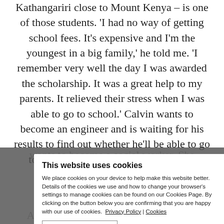Kathangariri close to Mount Kenya – is one of those students. 'I had no way of getting school fees. It's expensive and I'm the youngest in a big family,' he told me. 'I remember very well the day I was awarded the scholarship. It was a great help to my parents. It relieved their stress when I was able to go to school.' Calvin wants to become an engineer and is waiting for his results to find out whether he'll be able to go to university. Another student, Teresa, wants to become a social worker. She grind … nt to assure you th … the opportunity … Another way we're supporting farming communities is through working with the KDT … cess to fresh water – and this year alone we've installed 53
This website uses cookies
We place cookies on your device to help make this website better. Details of the cookies we use and how to change your browser's settings to manage cookies can be found on our Cookies Page. By clicking on the button below you are confirming that you are happy with our use of cookies. Privacy Policy | Cookies
Allow all cookies   Show details